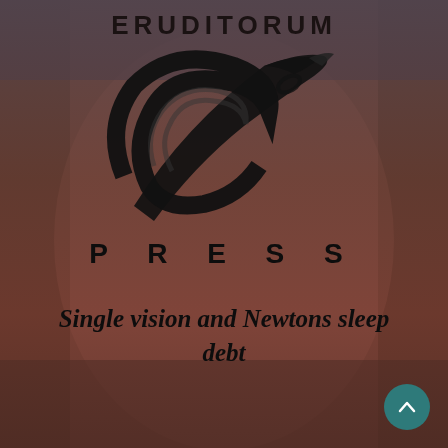ERUDITORUM
[Figure (logo): Eruditorum Press stylized cursive EP logo in black ink on dark illustrated background]
P R E S S
Single vision and Newtons sleep debt